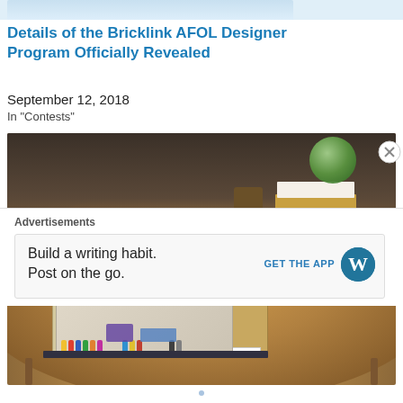[Figure (photo): Partial top strip of a previous article image showing LEGO sets on a light blue background]
Details of the Bricklink AFOL Designer Program Officially Revealed
September 12, 2018
In "Contests"
[Figure (photo): A LEGO set depicting The Office TV show set placed on a wooden round table, with stacked books and a green glass globe in the background]
Advertisements
Build a writing habit.
Post on the go.
GET THE APP